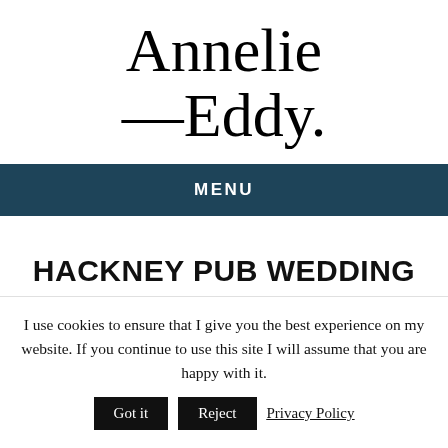Annelie —Eddy.
MENU
HACKNEY PUB WEDDING AT THE LONDESBOROUGH
I use cookies to ensure that I give you the best experience on my website. If you continue to use this site I will assume that you are happy with it. Got it  Reject  Privacy Policy